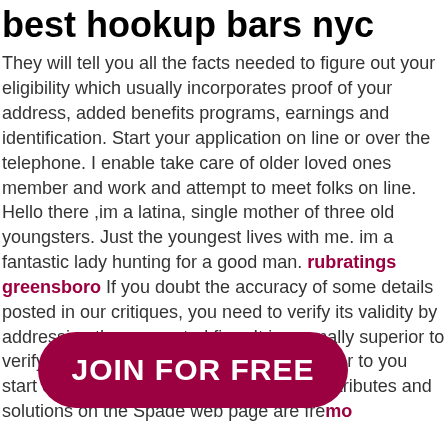best hookup bars nyc
They will tell you all the facts needed to figure out your eligibility which usually incorporates proof of your address, added benefits programs, earnings and identification. Start your application on line or over the telephone. I enable take care of older loved ones member and work and attempt to meet folks on line. Hello there ,im a latina, single mother of three old youngsters. Just the youngest lives with me. im a fantastic lady hunting for a good man. rubratings greensboro If you doubt the accuracy of some details posted in our critiques, you need to verify its validity by addressing the connected firm. It is normally superior to verify the details you look at inaccurate prior to you start off utilizing the service. Most of the attributes and solutions on the Spade web page are free. At the same time, some will have to have to pay .99. Chisinau moldova offered on this web site can also be designed for me personally. I recommend
[Figure (other): JOIN FOR FREE button overlay in dark red/maroon pill shape]